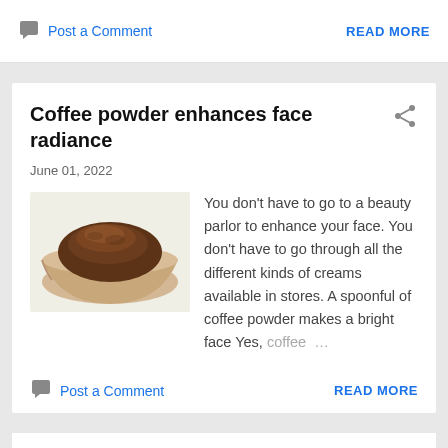Post a Comment
READ MORE
Coffee powder enhances face radiance
June 01, 2022
[Figure (photo): A wooden bowl filled with brown coffee powder on a light background]
You don't have to go to a beauty parlor to enhance your face. You don't have to go through all the different kinds of creams available in stores. A spoonful of coffee powder makes a bright face Yes, coffee ...
Post a Comment
READ MORE